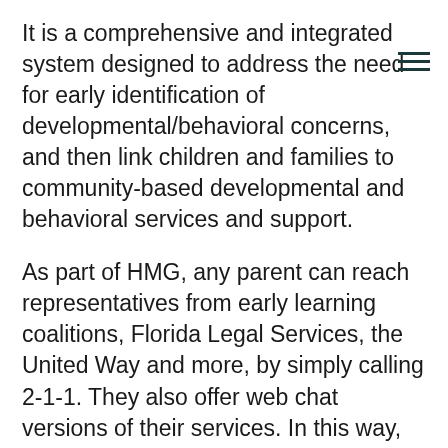It is a comprehensive and integrated system designed to address the need for early identification of developmental/behavioral concerns, and then link children and families to community-based developmental and behavioral services and support.
As part of HMG, any parent can reach representatives from early learning coalitions, Florida Legal Services, the United Way and more, by simply calling 2-1-1. They also offer web chat versions of their services. In this way, Aloupis said, parents with limited resources can find out what is out there to help them raise their children in the best, most effective way possible.